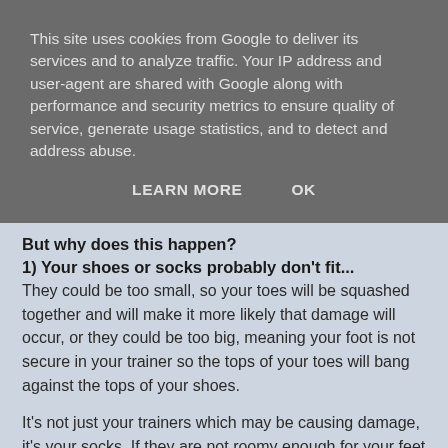This site uses cookies from Google to deliver its services and to analyze traffic. Your IP address and user-agent are shared with Google along with performance and security metrics to ensure quality of service, generate usage statistics, and to detect and address abuse.
LEARN MORE   OK
But why does this happen?
1) Your shoes or socks probably don't fit...
They could be too small, so your toes will be squashed together and will make it more likely that damage will occur, or they could be too big, meaning your foot is not secure in your trainer so the tops of your toes will bang against the tops of your shoes.
It's not just your trainers which may be causing damage, it's your socks. If they are not roomy enough for your feet to breathe, they will also act as a barrier for your toenails to continue to bash themselves up against.